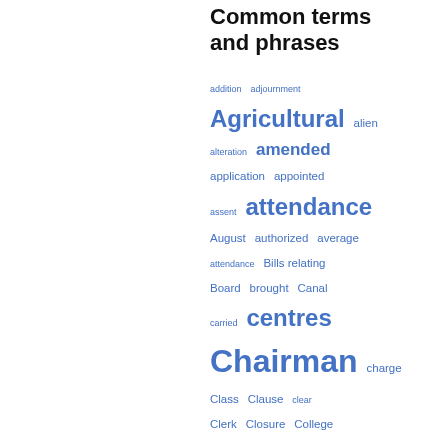Common terms and phrases
addition adjournment Agricultural alien alteration amended application appointed assent attendance August authorized average attendance Bills relating Board brought Canal carried centres Chairman charge Class Clause clear Clerk Closure College Committee Company conducted consideration copy County Council course dairy